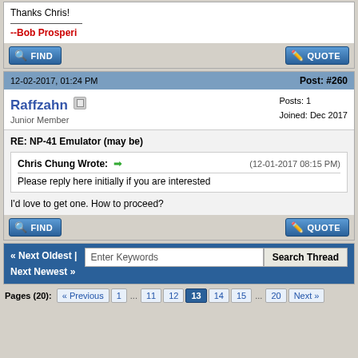Thanks Chris!
--Bob Prosperi
12-02-2017, 01:24 PM
Post: #260
Raffzahn
Junior Member
Posts: 1
Joined: Dec 2017
RE: NP-41 Emulator (may be)
Chris Chung Wrote: (12-01-2017 08:15 PM)
Please reply here initially if you are interested
I'd love to get one. How to proceed?
« Next Oldest | Next Newest »
Pages (20): « Previous 1 ... 11 12 13 14 15 ... 20 Next »